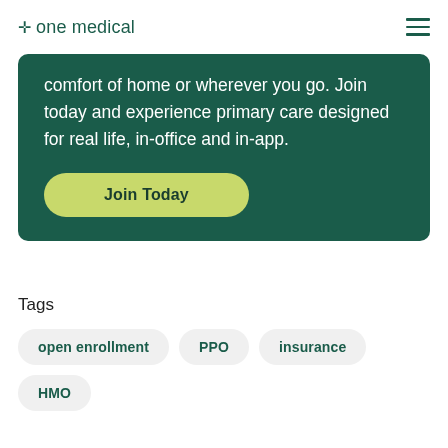✛ one medical
comfort of home or wherever you go. Join today and experience primary care designed for real life, in-office and in-app.
Join Today
Tags
open enrollment
PPO
insurance
HMO